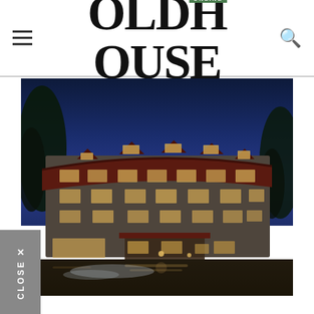OLD HOUSE ONLINE (logo with hamburger menu and search icon)
[Figure (photo): Exterior nighttime photograph of a large stone historic hotel or lodge building with red/dark roof, illuminated windows, and a covered entrance portico, reflecting in wet pavement in the foreground, surrounded by trees under a deep blue dusk sky.]
CLOSE ×